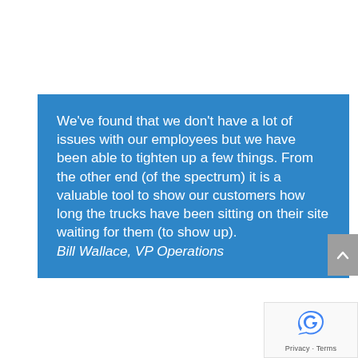We've found that we don't have a lot of issues with our employees but we have been able to tighten up a few things. From the other end (of the spectrum) it is a valuable tool to show our customers how long the trucks have been sitting on their site waiting for them (to show up). Bill Wallace, VP Operations
[Figure (logo): Google reCAPTCHA badge with Privacy and Terms links]